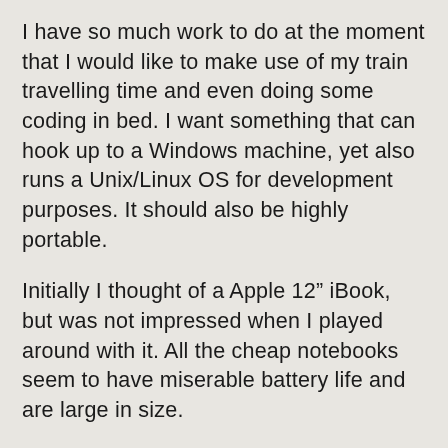I have so much work to do at the moment that I would like to make use of my train travelling time and even doing some coding in bed. I want something that can hook up to a Windows machine, yet also runs a Unix/Linux OS for development purposes. It should also be highly portable.
Initially I thought of a Apple 12" iBook, but was not impressed when I played around with it. All the cheap notebooks seem to have miserable battery life and are large in size.
Then I took a look at the latest Zaurus handhelds – the C1000 and C3x00 models. They seem close to perfect! Much the same size as my dead C700, they are faster and have more memory. They run Linux, so I should be able to